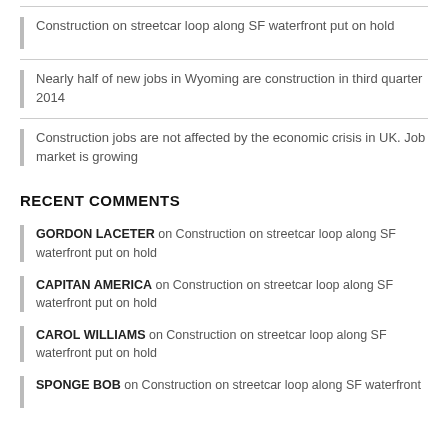Construction on streetcar loop along SF waterfront put on hold
Nearly half of new jobs in Wyoming are construction in third quarter 2014
Construction jobs are not affected by the economic crisis in UK. Job market is growing
RECENT COMMENTS
GORDON LACETER on Construction on streetcar loop along SF waterfront put on hold
CAPITAN AMERICA on Construction on streetcar loop along SF waterfront put on hold
CAROL WILLIAMS on Construction on streetcar loop along SF waterfront put on hold
SPONGE BOB on Construction on streetcar loop along SF waterfront